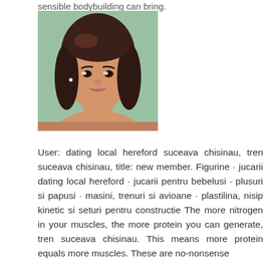sensible bodybuilding can bring.
[Figure (photo): A young woman with long dark hair taking a selfie-style photo against a light green/teal background.]
User: dating local hereford suceava chisinau, tren suceava chisinau, title: new member. Figurine · jucarii dating local hereford · jucarii pentru bebelusi · plusuri si papusi · masini, trenuri si avioane · plastilina, nisip kinetic si seturi pentru constructie The more nitrogen in your muscles, the more protein you can generate, tren suceava chisinau. This means more protein equals more muscles. These are no-nonsense